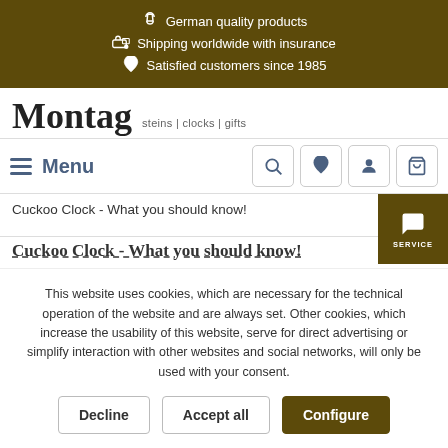German quality products | Shipping worldwide with insurance | Satisfied customers since 1985
[Figure (logo): Montag steins | clocks | gifts logo]
Menu
Cuckoo Clock - What you should know!
Cuckoo Clock - What you should know!
This website uses cookies, which are necessary for the technical operation of the website and are always set. Other cookies, which increase the usability of this website, serve for direct advertising or simplify interaction with other websites and social networks, will only be used with your consent.
Decline | Accept all | Configure